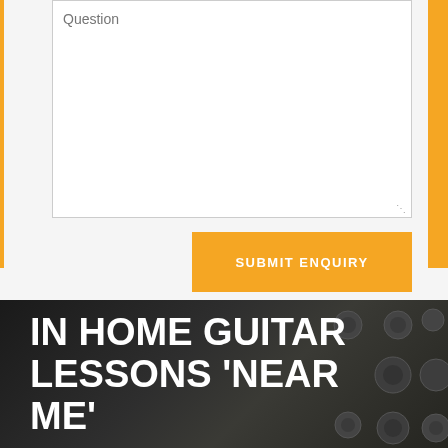Question
SUBMIT ENQUIRY
IN HOME GUITAR LESSONS ‘NEAR ME’